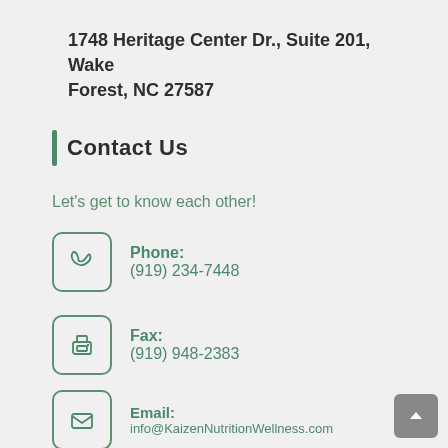1748 Heritage Center Dr., Suite 201, Wake Forest, NC 27587
Contact Us
Let's get to know each other!
Phone: (919) 234-7448
Fax: (919) 948-2383
Email: info@KaizenNutritionWellness.com
Website: KaizenNutritionWellness.com